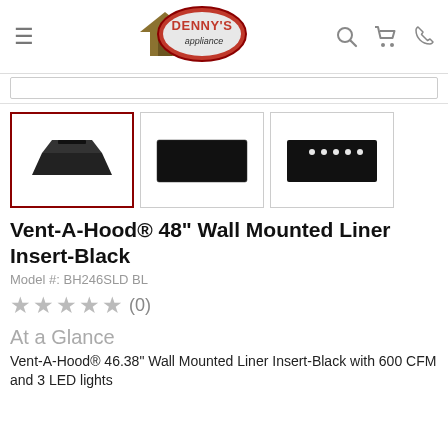[Figure (logo): Denny's Appliance logo with house icon and red oval]
[Figure (photo): Three product thumbnail images of Vent-A-Hood 48 inch wall mounted liner insert in black]
Vent-A-Hood® 48" Wall Mounted Liner Insert-Black
Model #: BH246SLD BL
★★★★★ (0)
At a Glance
Vent-A-Hood® 46.38" Wall Mounted Liner Insert-Black with 600 CFM and 3 LED lights